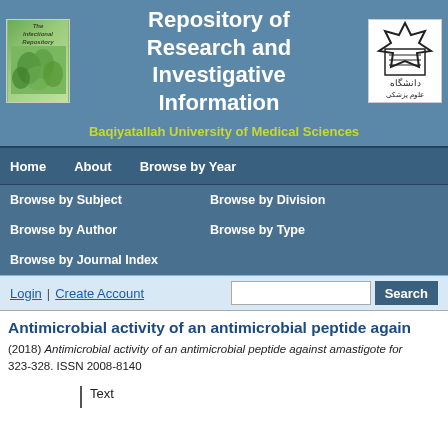[Figure (logo): Journal cover image and university logo in header]
Repository of Research and Investigative Information
Baqiyatallah University of Medical Sciences
Home
About
Browse by Year
Browse by Subject
Browse by Division
Browse by Author
Browse by Type
Browse by Journal Index
Login | Create Account
Antimicrobial activity of an antimicrobial peptide again
(2018) Antimicrobial activity of an antimicrobial peptide against amastigote for 323-328. ISSN 2008-8140
Text